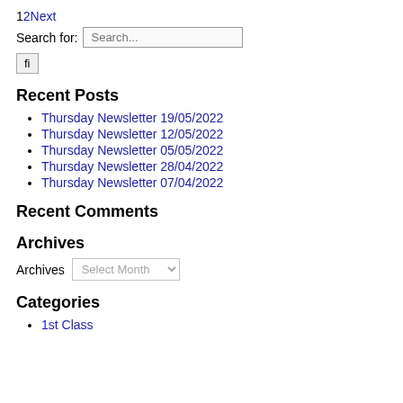12Next
Search for: Search...
Recent Posts
Thursday Newsletter 19/05/2022
Thursday Newsletter 12/05/2022
Thursday Newsletter 05/05/2022
Thursday Newsletter 28/04/2022
Thursday Newsletter 07/04/2022
Recent Comments
Archives
Archives Select Month
Categories
1st Class